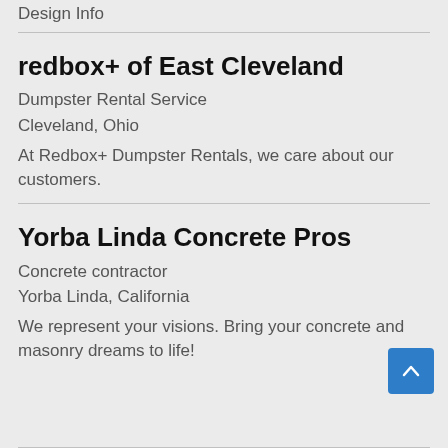Design Info
redbox+ of East Cleveland
Dumpster Rental Service
Cleveland, Ohio
At Redbox+ Dumpster Rentals, we care about our customers.
Yorba Linda Concrete Pros
Concrete contractor
Yorba Linda, California
We represent your visions. Bring your concrete and masonry dreams to life!